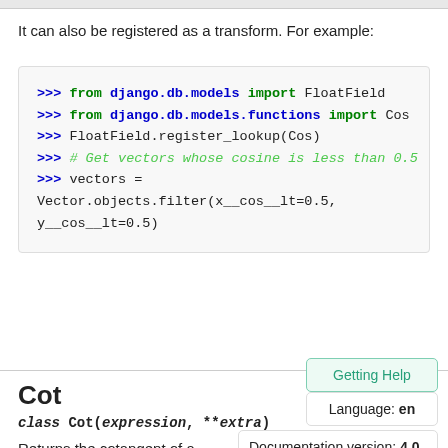It can also be registered as a transform. For example:
>>> from django.db.models import FloatField
>>> from django.db.models.functions import Cos
>>> FloatField.register_lookup(Cos)
>>> # Get vectors whose cosine is less than 0.5
>>> vectors =
Vector.objects.filter(x__cos__lt=0.5,
y__cos__lt=0.5)
Cot
class Cot(expression, **extra)
Returns the cotangent of a numeric fiel
Getting Help
Language: en
Documentation version: 4.0